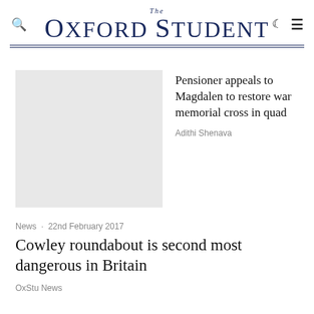The Oxford Student
[Figure (photo): Gray placeholder image thumbnail for the article]
Pensioner appeals to Magdalen to restore war memorial cross in quad
Adithi Shenava
News · 22nd February 2017
Cowley roundabout is second most dangerous in Britain
OxStu News